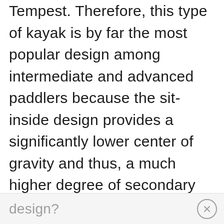Tempest. Therefore, this type of kayak is by far the most popular design among intermediate and advanced paddlers because the sit-inside design provides a significantly lower center of gravity and thus, a much higher degree of secondary stability (the kayak's tendency to stay upright when the kayak is leaned on its edge for turning and when paddling in rough seas). So, what are the advantages and disadvantages of this type of kayak design?
design?